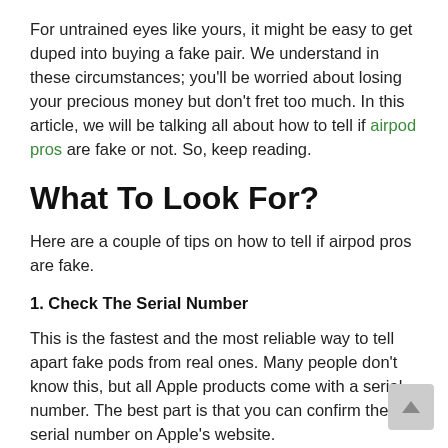For untrained eyes like yours, it might be easy to get duped into buying a fake pair. We understand in these circumstances; you'll be worried about losing your precious money but don't fret too much. In this article, we will be talking all about how to tell if airpod pros are fake or not. So, keep reading.
What To Look For?
Here are a couple of tips on how to tell if airpod pros are fake.
1. Check The Serial Number
This is the fastest and the most reliable way to tell apart fake pods from real ones. Many people don't know this, but all Apple products come with a serial number. The best part is that you can confirm the serial number on Apple's website.
You can find a serial number for the AirPods you're going